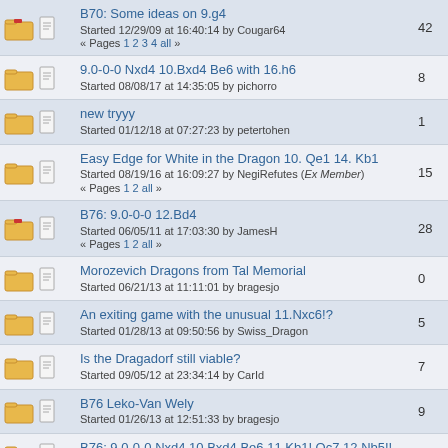B70: Some ideas on 9.g4 | Started 12/29/09 at 16:40:14 by Cougar64 | Pages 1 2 3 4 all | 42
9.0-0-0 Nxd4 10.Bxd4 Be6 with 16.h6 | Started 08/08/17 at 14:35:05 by pichorro | 8
new tryyy | Started 01/12/18 at 07:27:23 by petertohen | 1
Easy Edge for White in the Dragon 10. Qe1 14. Kb1 | Started 08/19/16 at 16:09:27 by NegiRefutes (Ex Member) | Pages 1 2 all | 15
B76: 9.0-0-0 12.Bd4 | Started 06/05/11 at 17:03:30 by JamesH | Pages 1 2 all | 28
Morozevich Dragons from Tal Memorial | Started 06/21/13 at 11:11:01 by bragesjo | 0
An exiting game with the unusual 11.Nxc6!? | Started 01/28/13 at 09:50:56 by Swiss_Dragon | 5
Is the Dragadorf still viable? | Started 09/05/12 at 23:34:14 by CarId | 7
B76 Leko-Van Wely | Started 01/26/13 at 12:51:33 by bragesjo | 9
B76: 9.0-0-0 Nxd4 10.Bxd4 Be6 11.Kb1! Qc7 12.Nb5!! | Started 04/29/12 at 10:39:44 by BleepBleep | 11
B75: Accelerated Soltis variation. | Started 01/17/12 at 00:31:34 by flaviddude | 2
B75: line against the dragondorf | Started 03/02/11 at 21:14:17 by Reverse | 5
B76: 10.Qe1 in dragon ? | Started 06/08/11 at 16:51:36 by punter | 22